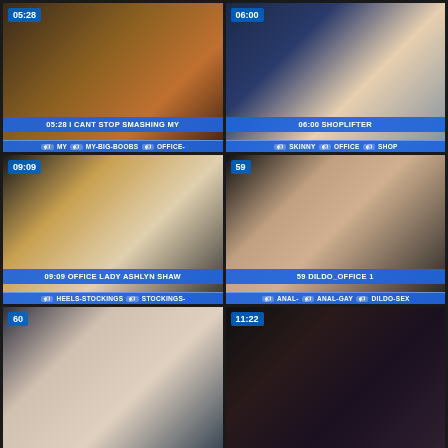[Figure (screenshot): Video thumbnail 1 with duration 05:28, title '05:28 I CANT STOP SMASHING MY', tags: MY, MY-BIG-BOOBS, OFFICE-]
[Figure (screenshot): Video thumbnail 2 with duration 06:00, title '06:00 SHOPLIFTER', tags: SKINNY, OFFICE, SHOP]
[Figure (screenshot): Video thumbnail 3 with duration 09:09, title '09:09 OFFICE LADY ASHLYN SHAW', tags: HEELS-STOCKINGS, STOCKINGS-]
[Figure (screenshot): Video thumbnail 4 with duration 59, title '59 DILDO_OFFICE 1', tags: ANAL-, ANAL-GAY, DILDO-SEX]
[Figure (screenshot): Video thumbnail 5 with duration 60, partial thumbnail visible]
[Figure (screenshot): Video thumbnail 6 with duration 11:22, partial thumbnail visible, KrissKiss.com watermark]